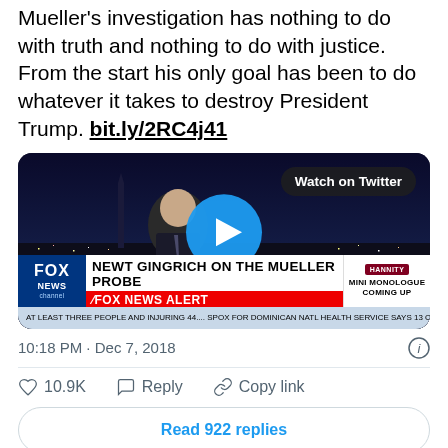Mueller's investigation has nothing to do with truth and nothing to do with justice. From the start his only goal has been to do whatever it takes to destroy President Trump. bit.ly/2RC4j41
[Figure (screenshot): Embedded Twitter video thumbnail showing Fox News broadcast of Newt Gingrich on the Mueller Probe, with a play button overlay and 'Watch on Twitter' badge]
10:18 PM · Dec 7, 2018
♡ 10.9K   Reply   Copy link
Read 922 replies